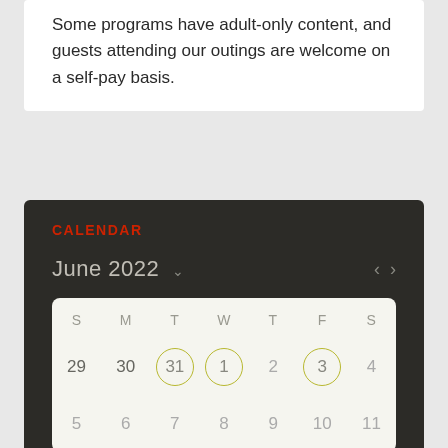Some programs have adult-only content, and guests attending our outings are welcome on a self-pay basis.
CALENDAR
[Figure (other): June 2022 calendar widget showing days 29-30 (grayed, previous month), 31 (circled), 1 (circled), 2, 3 (circled), 4, 5-11 in a dark-themed calendar widget]